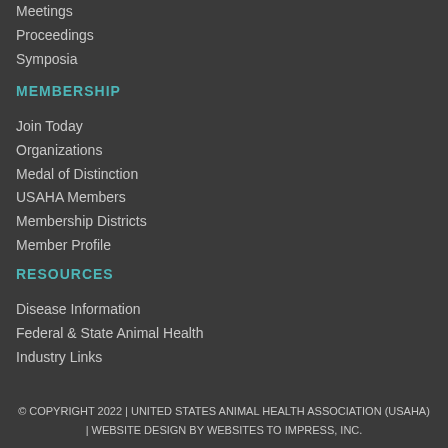Meetings
Proceedings
Symposia
MEMBERSHIP
Join Today
Organizations
Medal of Distinction
USAHA Members
Membership Districts
Member Profile
RESOURCES
Disease Information
Federal & State Animal Health
Industry Links
© COPYRIGHT 2022 | UNITED STATES ANIMAL HEALTH ASSOCIATION (USAHA) | WEBSITE DESIGN BY WEBSITES TO IMPRESS, INC.